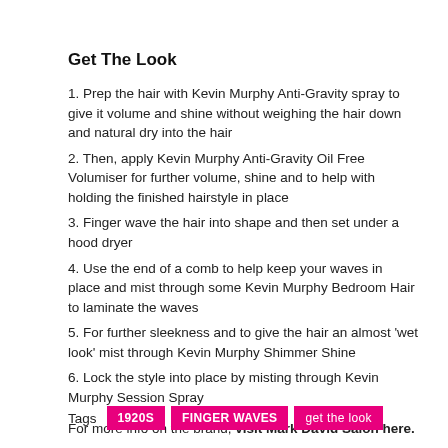Get The Look
1. Prep the hair with Kevin Murphy Anti-Gravity spray to give it volume and shine without weighing the hair down and natural dry into the hair
2. Then, apply Kevin Murphy Anti-Gravity Oil Free Volumiser for further volume, shine and to help with holding the finished hairstyle in place
3. Finger wave the hair into shape and then set under a hood dryer
4. Use the end of a comb to help keep your waves in place and mist through some Kevin Murphy Bedroom Hair to laminate the waves
5. For further sleekness and to give the hair an almost 'wet look' mist through Kevin Murphy Shimmer Shine
6. Lock the style into place by misting through Kevin Murphy Session Spray
For more info on the brand, visit Mark David Salon here.
Tags   1920S   FINGER WAVES   get the look